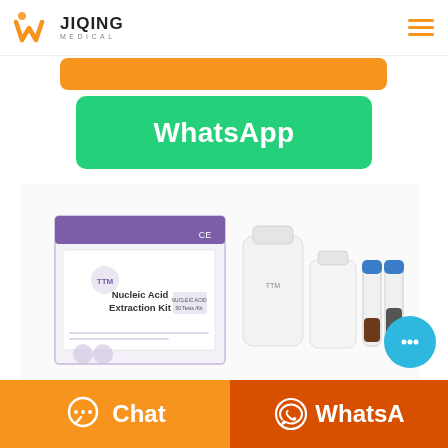[Figure (logo): Jiqing Medical logo with orange W icon and JIQING MEDICAL text]
[Figure (screenshot): Orange button partially visible at top]
[Figure (screenshot): Green WhatsApp button with bold white text 'WhatsApp']
[Figure (photo): Nucleic Acid Extraction Kit product photo showing box and reagent bottles/tubes]
[Figure (screenshot): Bottom bar: orange Chat button on left and dark orange WhatsApp button on right, with floating cyan chat bubble]
[Figure (screenshot): Floating cyan circle chat button with three dots]